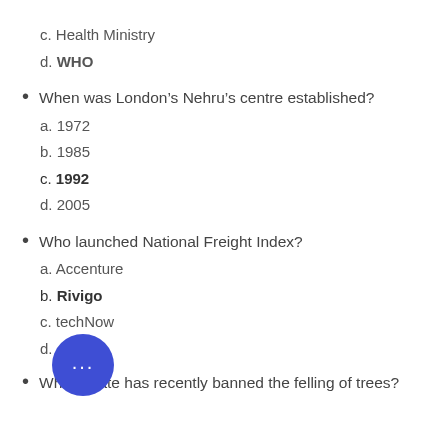c. Health Ministry
d. WHO
When was London's Nehru's centre established?
a. 1972
b. 1985
c. 1992
d. 2005
Who launched National Freight Index?
a. Accenture
b. Rivigo
c. techNow
d.
Which state has recently banned the felling of trees?